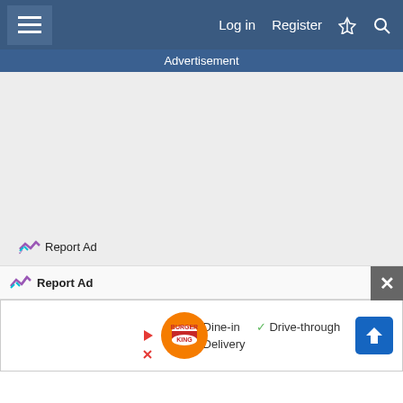Log in  Register
Advertisement
[Figure (screenshot): Large grey advertisement placeholder area]
Report Ad
Report Ad
[Figure (screenshot): Burger King advertisement: Dine-in, Drive-through, Delivery with direction button]